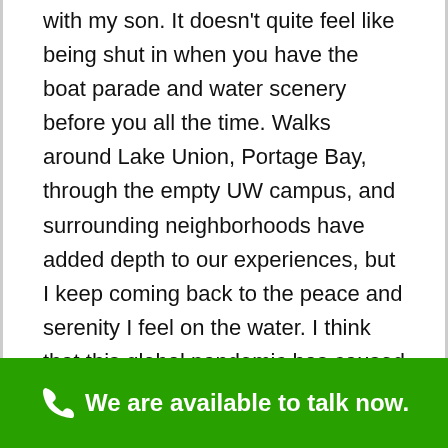with my son. It doesn't quite feel like being shut in when you have the boat parade and water scenery before you all the time. Walks around Lake Union, Portage Bay, through the empty UW campus, and surrounding neighborhoods have added depth to our experiences, but I keep coming back to the peace and serenity I feel on the water. I think that this global pandemic has caused a lot of people to reevaluate their living situations.
We are available to talk now.